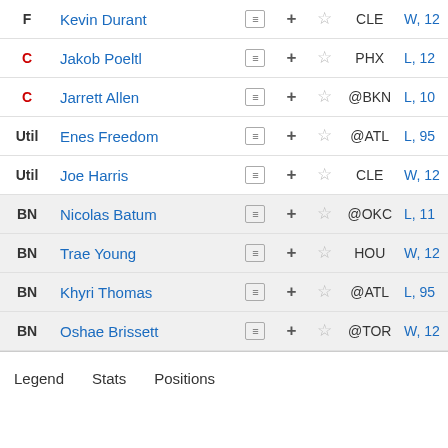| Pos | Player |  | + | ★ | Team | Result |
| --- | --- | --- | --- | --- | --- | --- |
| F | Kevin Durant | ≡ | + | ☆ | CLE | W, 12 |
| C | Jakob Poeltl | ≡ | + | ☆ | PHX | L, 12 |
| C | Jarrett Allen | ≡ | + | ☆ | @BKN | L, 10 |
| Util | Enes Freedom | ≡ | + | ☆ | @ATL | L, 95 |
| Util | Joe Harris | ≡ | + | ☆ | CLE | W, 12 |
| BN | Nicolas Batum | ≡ | + | ☆ | @OKC | L, 11 |
| BN | Trae Young | ≡ | + | ☆ | HOU | W, 12 |
| BN | Khyri Thomas | ≡ | + | ☆ | @ATL | L, 95 |
| BN | Oshae Brissett | ≡ | + | ☆ | @TOR | W, 12 |
Legend   Stats   Positions